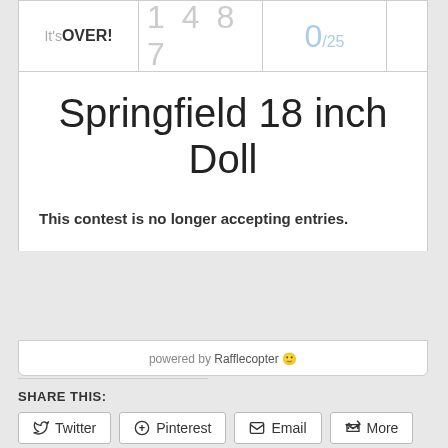It's OVER! 1487 0/25
Springfield 18 inch Doll
This contest is no longer accepting entries.
powered by Rafflecopter
SHARE THIS:
Twitter
Pinterest
Email
More